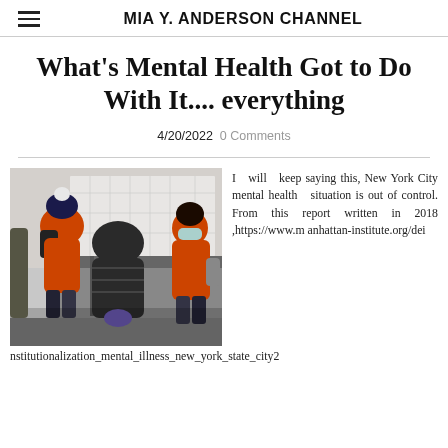MIA Y. ANDERSON CHANNEL
What's Mental Health Got to Do With It.... everything
4/20/2022   0 Comments
[Figure (photo): Photo of people in a subway station, one person in an orange jacket and winter hat looking down, another in an orange jacket wearing a mask]
I will keep saying this, New York City mental health situation is out of control. From this report written in 2018 ,https://www.manhattan-institute.org/deinstitutionalization_mental_illness_new_york_state_city2